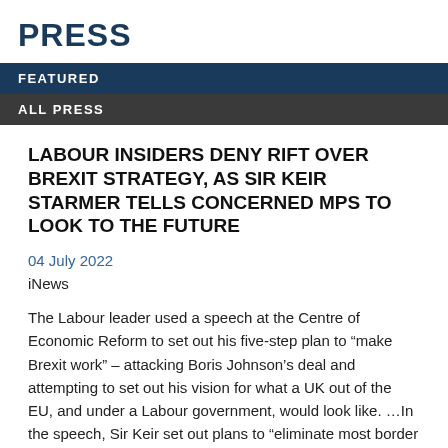PRESS
FEATURED
ALL PRESS
LABOUR INSIDERS DENY RIFT OVER BREXIT STRATEGY, AS SIR KEIR STARMER TELLS CONCERNED MPS TO LOOK TO THE FUTURE
04 July 2022
iNews
The Labour leader used a speech at the Centre of Economic Reform to set out his five-step plan to “make Brexit work” – attacking Boris Johnson’s deal and attempting to set out his vision for what a UK out of the EU, and under a Labour government, would look like. …In the speech, Sir Keir set out plans to “eliminate most border